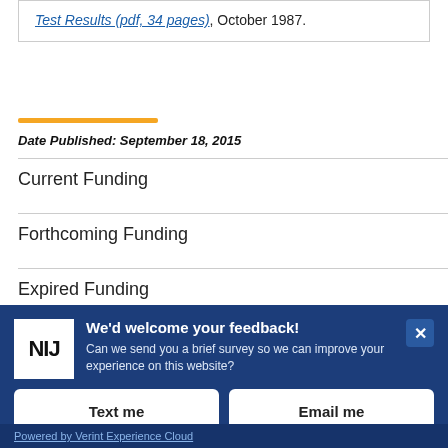Test Results (pdf, 34 pages), October 1987.
Date Published: September 18, 2015
Current Funding
Forthcoming Funding
Expired Funding
[Figure (screenshot): NIJ feedback modal overlay with 'We'd welcome your feedback!' message, Text me and Email me buttons, and Powered by Verint Experience Cloud footer.]